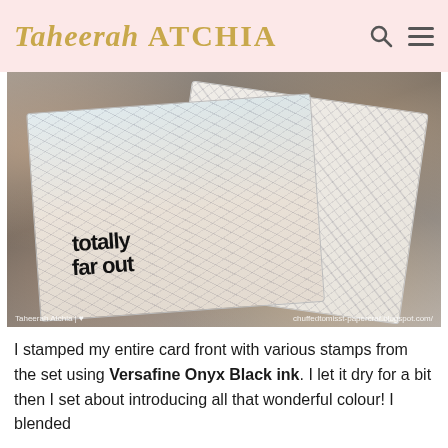Taheerah ATCHIA
[Figure (photo): Close-up photo of handmade greeting cards with intricate black stamped patterns on white/pastel backgrounds. Cards are tilted/overlapping, showing swirling ornamental designs and bold die-cut text reading 'totally far out' and 'stellar groovy'. Bokeh lights visible in background. Watermarks read 'Taheerah Atchia | heart' and 'chuffedtomisst-papercraf.blogspot.com/']
I stamped my entire card front with various stamps from the set using Versafine Onyx Black ink. I let it dry for a bit then I set about introducing all that wonderful colour! I blended